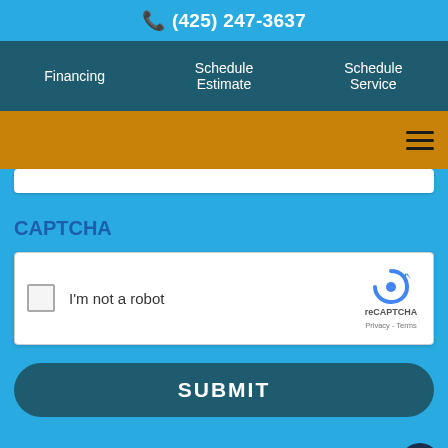(425) 247-3637
Financing | Schedule Estimate | Schedule Service
[Figure (screenshot): Orange navigation bar with hamburger menu icon on the right]
[Figure (screenshot): Partially visible text input bar at bottom of orange section]
CAPTCHA
[Figure (screenshot): reCAPTCHA widget with checkbox, 'I'm not a robot' text, reCAPTCHA logo, Privacy and Terms links]
[Figure (screenshot): SUBMIT button - rounded dark teal rectangle]
[Figure (screenshot): Live Chat! bubble button in lower right corner]